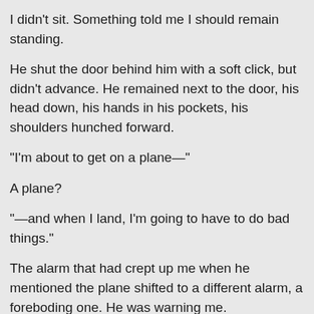I didn't sit. Something told me I should remain standing.
He shut the door behind him with a soft click, but didn't advance. He remained next to the door, his head down, his hands in his pockets, his shoulders hunched forward.
“I’m about to get on a plane—”
A plane?
“—and when I land, I’m going to have to do bad things.”
The alarm that had crept up me when he mentioned the plane shifted to a different alarm, a foreboding one. He was warning me.
“I’d imagine. Levi gave up someone the FBI was protecting, right?”
He didn’t answer.
My guess was right.